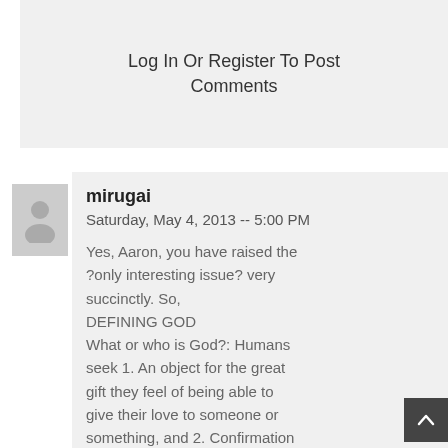Log In Or Register To Post Comments
mirugai
Saturday, May 4, 2013 -- 5:00 PM

Yes, Aaron, you have raised the ?only interesting issue? very succinctly. So,
DEFINING GOD
What or who is God?: Humans seek 1. An object for the great gift they feel of being able to give their love to someone or something, and 2. Confirmation of what they think is good and right. For these purposes, they refer to a consciousness outside of their own ? technically impossible to do, but